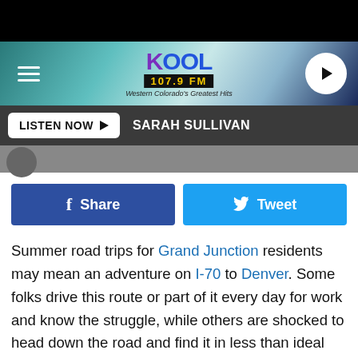[Figure (screenshot): KOOL 107.9 FM radio station header with logo, hamburger menu, and play button]
LISTEN NOW ▶  SARAH SULLIVAN
[Figure (screenshot): Facebook Share and Twitter Tweet buttons]
Summer road trips for Grand Junction residents may mean an adventure on I-70 to Denver. Some folks drive this route or part of it every day for work and know the struggle, while others are shocked to head down the road and find it in less than ideal conditions.
After recently completing my first round trip to Denver and back, I was also surprised to feel like I was driving across the moon for most of the trip. I felt the drive to Denver from